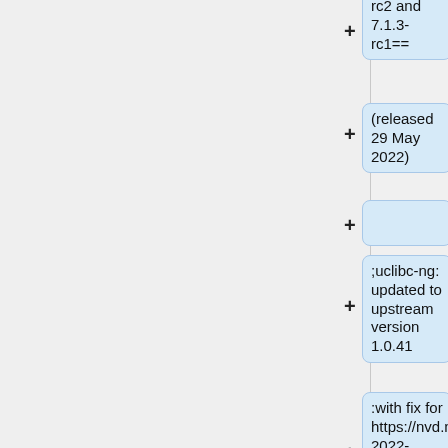[Figure (flowchart): A vertical flowchart/diagram showing a sequence of collapsible nodes (with + expand icons) on the right side of the page. Each node is a rounded rectangle with light blue background. The left portion of the page is a gray panel. Nodes shown (top to bottom, partially visible): 'rc2 and 7.1.3-rc1==', '(released 29 May 2022)', (empty node), ';uclibc-ng: updated to upstream version 1.0.41', ':with fix for https://nvd.nist.gov/vuln/detail/CVE-2022-30295', ';axel: updated to upstream version 2.17.11', ';curl: updated to upstream version 7.83.0']